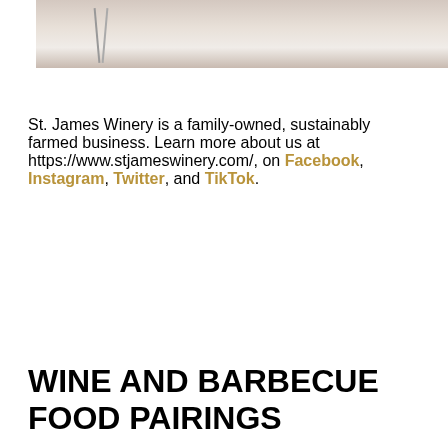[Figure (photo): Top portion of a food photo showing what appears to be crackers or flatbread with toppings on a white surface with decorative sticks]
St. James Winery is a family-owned, sustainably farmed business. Learn more about us at https://www.stjameswinery.com/, on Facebook, Instagram, Twitter, and TikTok.
[Figure (photo): A wine bottle lying next to a white plate with food (appears to be meat/barbecue) on it]
WINE AND BARBECUE FOOD PAIRINGS